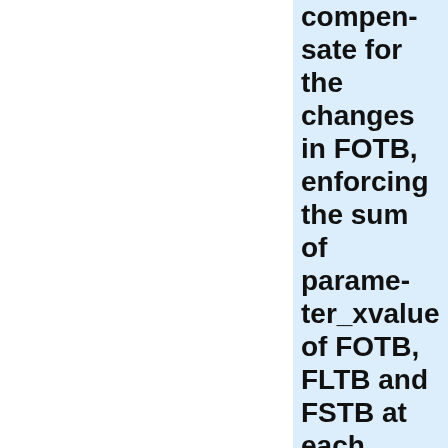compensate for the changes in FOTB, enforcing the sum of parameter_xvalue of FOTB, FLTB and FSTB at each point in time to be 1. For